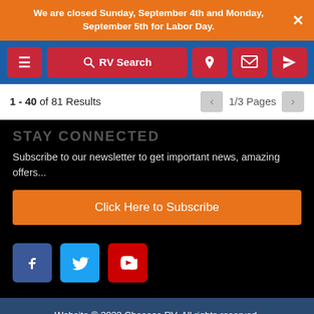We are closed Sunday, September 4th and Monday, September 5th for Labor Day.
[Figure (screenshot): Navigation bar with hamburger menu, RV Search button, phone, email, and location icon buttons on blue background]
1 - 40 of 81 Results  1/3 Pages
STAY CONNECTED
Subscribe to our newsletter to get important news, amazing offers...
Click Here to Subscribe
[Figure (illustration): Social media icons: Facebook (blue), Twitter (light blue), YouTube (red)]
Website © 2022 Chesaco RV. All rights reserved. Web design and development by focusRV